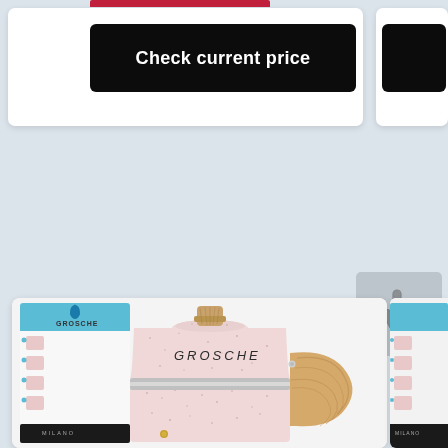[Figure (screenshot): Black 'Check current price' button on white card background, partial second card on right]
[Figure (photo): GROSCHE Milano pink speckled moka pot / stovetop espresso maker with wood-grain handle, shown next to its product packaging box. Partial second product image on right edge.]